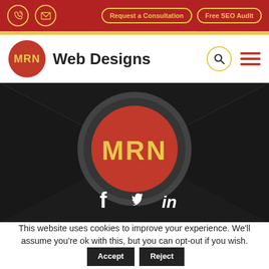Request a Consultation | Free SEO Audit
MRN Web Designs
[Figure (logo): MRN Web Designs logo with large red circle showing MRN in gold text, with social media icons (Facebook, Twitter, LinkedIn) below on dark background]
This website uses cookies to improve your experience. We'll assume you're ok with this, but you can opt-out if you wish. Accept Reject